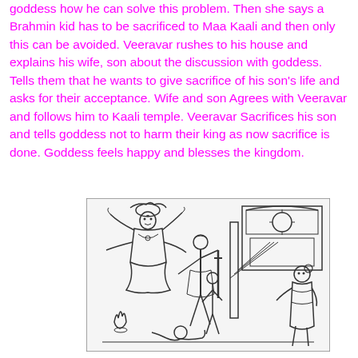goddess how he can solve this problem. Then she says a Brahmin kid has to be sacrificed to Maa Kaali and then only this can be avoided. Veeravar rushes to his house and explains his wife, son about the discussion with goddess. Tells them that he wants to give sacrifice of his son's life and asks for their acceptance. Wife and son Agrees with Veeravar and follows him to Kaali temple. Veeravar Sacrifices his son and tells goddess not to harm their king as now sacrifice is done. Goddess feels happy and blesses the kingdom.
[Figure (illustration): A black and white line drawing depicting a scene at a Kaali temple. A multi-armed goddess figure (Maa Kaali) is seated on the left. In the center, a standing figure (likely Veeravar) holds a sword over a kneeling/prostrate figure. Another figure stands nearby, and a woman is visible on the right side. A small flame is shown at the bottom left.]